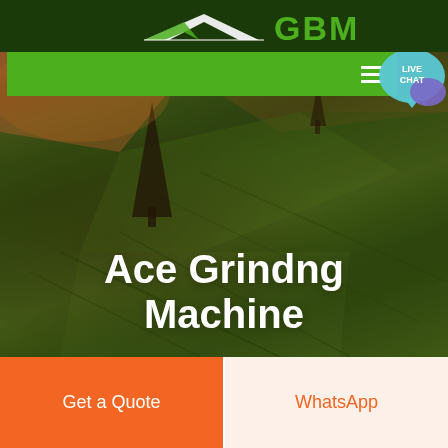[Figure (logo): GBM company logo with triangular arrow/wing graphic in white and green on a dark green header bar, with large green bold 'GBM' text]
[Figure (screenshot): Green navigation bar with hamburger menu icon on the right, and a teal 'LIVE CHAT' speech bubble icon overlapping the right edge]
[Figure (photo): Aerial view of agricultural fields with rolling green and golden-brown terrain, a dark cypress-like tree in the left foreground, and a small tree near the top center. Warm sunset lighting with diagonal field lines.]
Ace Grindng Machine
Get a Quote
WhatsApp